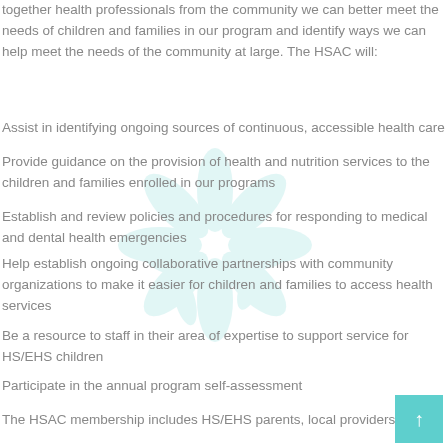together health professionals from the community we can better meet the needs of children and families in our program and identify ways we can help meet the needs of the community at large. The HSAC will:
Assist in identifying ongoing sources of continuous, accessible health care
Provide guidance on the provision of health and nutrition services to the children and families enrolled in our programs
Establish and review policies and procedures for responding to medical and dental health emergencies
Help establish ongoing collaborative partnerships with community organizations to make it easier for children and families to access health services
Be a resource to staff in their area of expertise to support service for HS/EHS children
Participate in the annual program self-assessment
The HSAC membership includes HS/EHS parents, local providers,